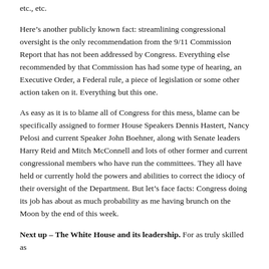etc., etc.
Here’s another publicly known fact: streamlining congressional oversight is the only recommendation from the 9/11 Commission Report that has not been addressed by Congress. Everything else recommended by that Commission has had some type of hearing, an Executive Order, a Federal rule, a piece of legislation or some other action taken on it. Everything but this one.
As easy as it is to blame all of Congress for this mess, blame can be specifically assigned to former House Speakers Dennis Hastert, Nancy Pelosi and current Speaker John Boehner, along with Senate leaders Harry Reid and Mitch McConnell and lots of other former and current congressional members who have run the committees. They all have held or currently hold the powers and abilities to correct the idiocy of their oversight of the Department. But let’s face facts: Congress doing its job has about as much probability as me having brunch on the Moon by the end of this week.
Next up – The White House and its leadership. For as truly skilled as